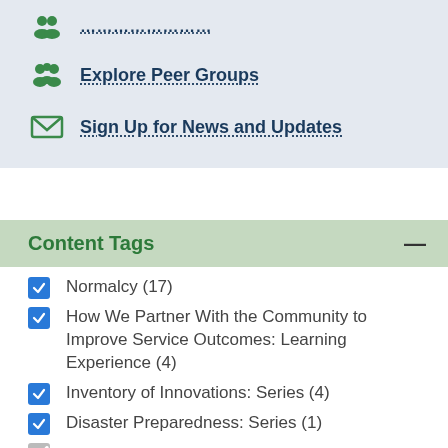Explore Peer Groups
Sign Up for News and Updates
Content Tags
Normalcy (17)
How We Partner With the Community to Improve Service Outcomes: Learning Experience (4)
Inventory of Innovations: Series (4)
Disaster Preparedness: Series (1)